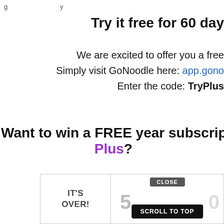...g...p...         ...y...
Try it free for 60 day
We are excited to offer you a free
Simply visit GoNoodle here: app.gono
Enter the code: TryPlus
Want to win a FREE year subscript Plus?
[Figure (screenshot): UI overlay showing 'IT'S OVER!' text, CLOSE button, a greyed-out number '5', SCROLL TO TOP button, and a partial '0' numeral on a white panel with border]